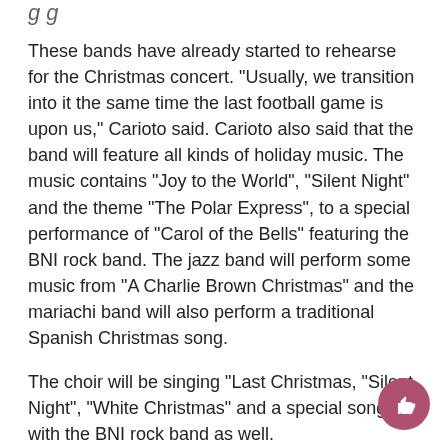g g
These bands have already started to rehearse for the Christmas concert. “Usually, we transition into it the same time the last football game is upon us,” Carioto said. Carioto also said that the band will feature all kinds of holiday music. The music contains “Joy to the World”, “Silent Night” and the theme “The Polar Express”, to a special performance of “Carol of the Bells” featuring the BNI rock band. The jazz band will perform some music from “A Charlie Brown Christmas” and the mariachi band will also perform a traditional Spanish Christmas song.
The choir will be singing “Last Christmas, “Silent Night”, “White Christmas” and a special song with the BNI rock band as well.
All 40 students will be performing in this year’s BNI band concert. This concert will also serve them as their